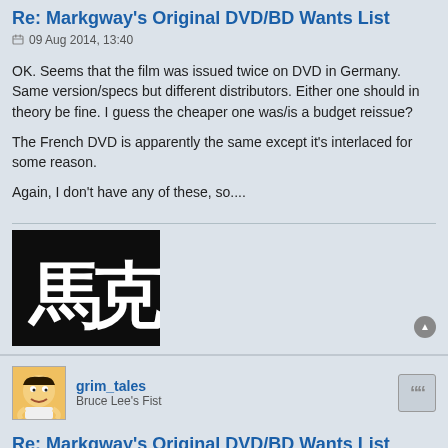Re: Markgway's Original DVD/BD Wants List
09 Aug 2014, 13:40
OK. Seems that the film was issued twice on DVD in Germany. Same version/specs but different distributors. Either one should in theory be fine. I guess the cheaper one was/is a budget reissue?
The French DVD is apparently the same except it's interlaced for some reason.
Again, I don't have any of these, so....
[Figure (photo): Black background image with two large white Chinese characters (馬克)]
grim_tales
Bruce Lee's Fist
Re: Markgway's Original DVD/BD Wants List
09 Aug 2014, 16:44
Thanks :) I just ordered the Savoy DVD so I'll let you know :D As for the Heroic Trio double pack, I wish there was just a standalone